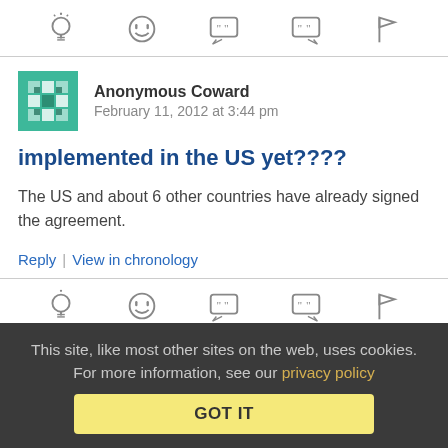[Figure (other): Toolbar with 5 icons: lightbulb, smiley face, open-quote speech bubble, close-quote speech bubble, flag]
Anonymous Coward   February 11, 2012 at 3:44 pm
implemented in the US yet????
The US and about 6 other countries have already signed the agreement.
Reply | View in chronology
[Figure (other): Second toolbar with 5 icons: lightbulb, smiley face, open-quote speech bubble, close-quote speech bubble, flag]
This site, like most other sites on the web, uses cookies. For more information, see our privacy policy   GOT IT